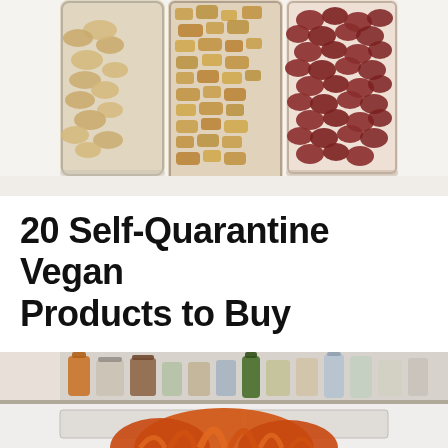[Figure (photo): Three glass jars filled with nuts and dried foods: cashews/dried coins on the left, granola/mixed nuts in the center, and red kidney beans on the right, on a white surface]
20 Self-Quarantine Vegan Products to Buy
[Figure (photo): Person with orange/red hair standing in front of a kitchen pantry shelf stocked with various jars, bottles, and food products. The person is partially visible from below the chin down.]